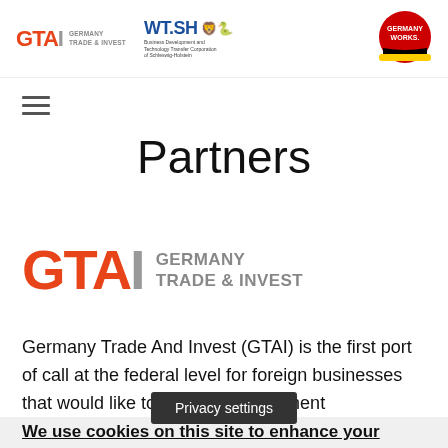[Figure (logo): GTAI Germany Trade & Invest logo (small, in header)]
[Figure (logo): WT.SH Business Development and Technology Transfer Corporation of Schleswig-Holstein logo]
[Figure (logo): Germany Works circular badge logo]
[Figure (other): Hamburger menu icon (three horizontal lines)]
Partners
[Figure (logo): GTAI Germany Trade & Invest large logo]
Germany Trade And Invest (GTAI) is the first port of call at the federal level for foreign businesses that would like to [Privacy settings] stment
We use cookies on this site to enhance your